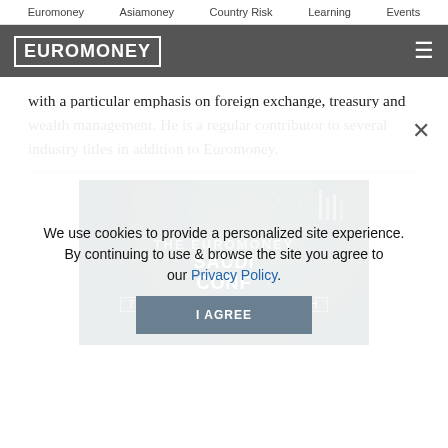Euromoney   Asiamoney   Country Risk   Learning   Events
[Figure (logo): Euromoney logo in white text with border on dark grey header bar with hamburger menu icon]
with a particular emphasis on foreign exchange, treasury and wealth management. He is a regular contributor to several industry titles in addition to Euromoney.
[Figure (screenshot): The Euromoney Saudi Arabia Conference advertisement image — dark teal background with light dot patterns, showing event title THE EUROMONEY SAUDI ARABIA CONFERENCE, date 7 SEPTEMBER 2022, RIYADH, and text 'The Institutional Investment and Finance #areSaudi']
We use cookies to provide a personalized site experience.
By continuing to use & browse the site you agree to our Privacy Policy.
I AGREE